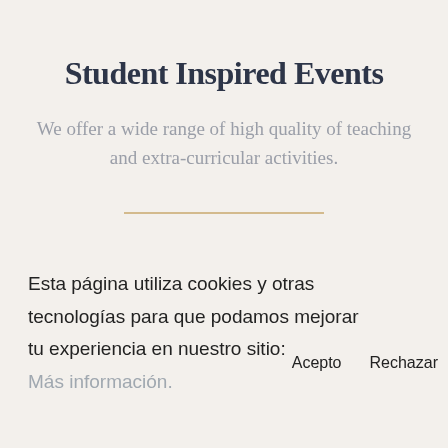Student Inspired Events
We offer a wide range of high quality of teaching and extra-curricular activities.
Esta página utiliza cookies y otras tecnologías para que podamos mejorar tu experiencia en nuestro sitio: Más información.
Acepto    Rechazar